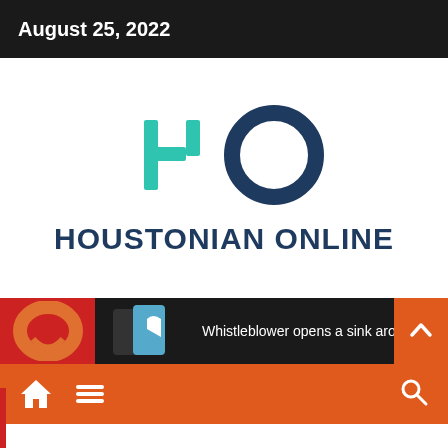August 25, 2022
[Figure (logo): Houstonian Online logo with stylized HO monogram in teal and dark blue]
HOUSTONIAN ONLINE
Whistleblower opens a sink around Twitter
[Figure (screenshot): Navigation bar with home, menu, and search icons on orange background]